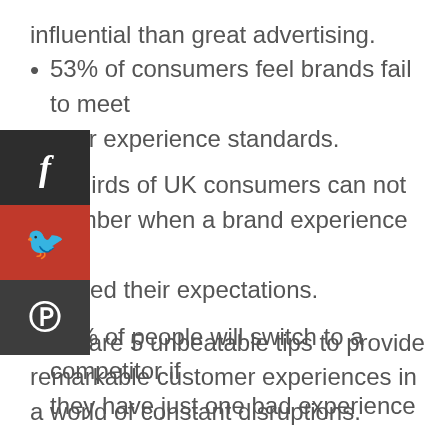influential than great advertising.
53% of consumers feel brands fail to meet their experience standards.
Two-thirds of UK consumers can not remember when a brand experience last exceeded their expectations.
76% of people will switch to a competitor if they have just one bad experience
Here are 5 unbeatable tips to provide remarkable customer experiences in a world of constant disruptions.